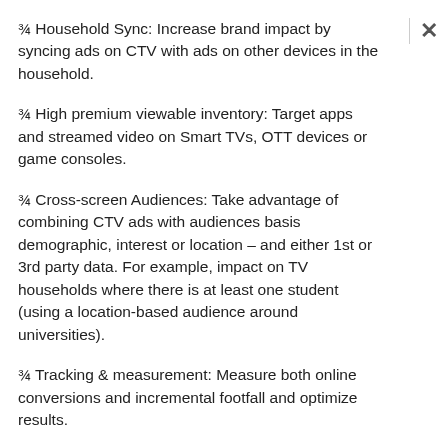¾ Household Sync: Increase brand impact by syncing ads on CTV with ads on other devices in the household.
¾ High premium viewable inventory: Target apps and streamed video on Smart TVs, OTT devices or game consoles.
¾ Cross-screen Audiences: Take advantage of combining CTV ads with audiences basis demographic, interest or location – and either 1st or 3rd party data. For example, impact on TV households where there is at least one student (using a location-based audience around universities).
¾ Tracking & measurement: Measure both online conversions and incremental footfall and optimize results.
¾ Real time Insights: Quantify your TV ads with more than 25 dedicated KPIs in real-time. Know where and when you buy impressions. Measure revenue and profitability in a way that is